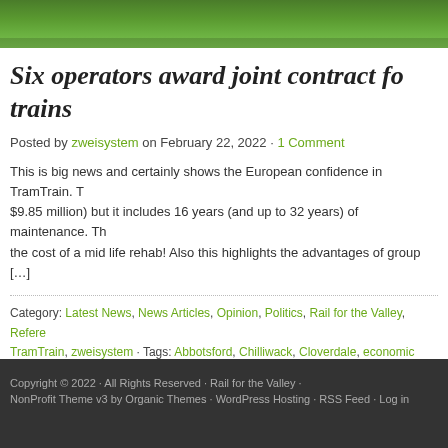[Figure (photo): Top portion of a photo showing green grass, appears to be a train or rail-related outdoor scene]
Six operators award joint contract fo... trains
Posted by zweisystem on February 22, 2022 · 1 Comment
This is big news and certainly shows the European confidence in TramTrain. T... $9.85 million) but it includes 16 years (and up to 32 years) of maintenance. Th... the cost of a mid life rehab! Also this highlights the advantages of group [...]
Category: Latest News, News Articles, Opinion, Politics, Rail for the Valley, Refere... TramTrain, zweisystem · Tags: Abbotsford, Chilliwack, Cloverdale, economic stimu... infrastructure, Interurban, Karlsruhe, Langley, LRT, LRTA, NDP, passenger rail, rail... track-sharing, tramtrain, transit, Translink, UBC, Vancouver, Vedder
Copyright © 2022 · All Rights Reserved · Rail for the Valley · NonProfit Theme v3 by Organic Themes · WordPress Hosting · RSS Feed · Log in